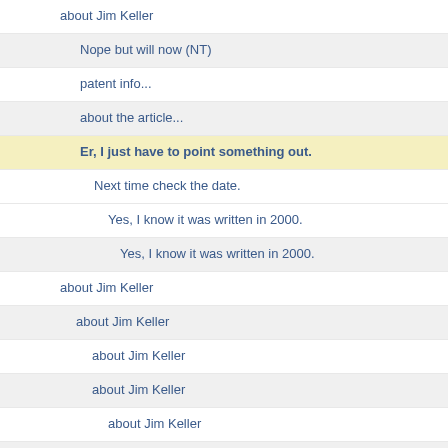about Jim Keller
Nope but will now (NT)
patent info...
about the article...
Er, I just have to point something out.
Next time check the date.
Yes, I know it was written in 2000.
Yes, I know it was written in 2000.
about Jim Keller
about Jim Keller
about Jim Keller
about Jim Keller
about Jim Keller
about Jim Keller
about Jim Keller
about Jim Keller
about Jim Keller
about Jim Keller
about Jim Keller
about Jim Keller
Taxation systems